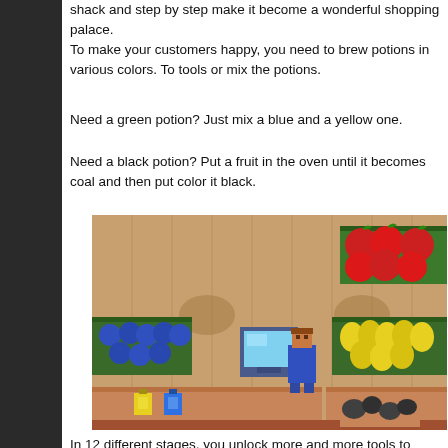shack and step by step make it become a wonderful shopping palace.
To make your customers happy, you need to brew potions in various colors. To tools or mix the potions.
Need a green potion? Just mix a blue and a yellow one.
Need a black potion? Put a fruit in the oven until it becomes coal and then put color it black.
[Figure (screenshot): Pixel art game screenshot showing a shop interior with a player character standing at a counter. Blue fruit displays on the left, yellow fruit displays on the right, red fruit/tomatoes in the top-right corner, a computer terminal in the center, yellow and blue potions on the counter, and coal in the bottom-right corner. The floor is a light tan wood-plank pattern.]
In 12 different stages, you unlock more and more tools to create different types